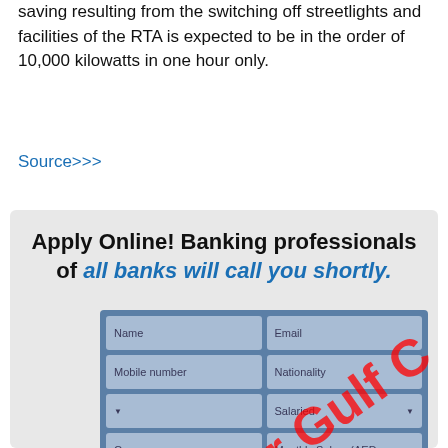saving resulting from the switching off streetlights and facilities of the RTA is expected to be in the order of 10,000 kilowatts in one hour only.
Source>>>
[Figure (screenshot): Online banking loan application advertisement with headline 'Apply Online! Banking professionals of all banks will call you shortly.' showing a form with fields for Name, Email, Mobile number, Nationality, Salaried dropdown, Monthly Salary (AED), Company, Type of Loan, amount, and Comments. A WhatsApp button (green circle with phone icon) is overlaid on the left. A red watermark reads 'Only For Gulf C...' diagonally across the form.]